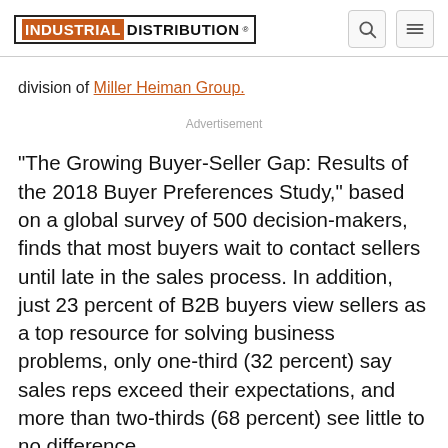INDUSTRIAL DISTRIBUTION
division of Miller Heiman Group.
Advertisement
"The Growing Buyer-Seller Gap: Results of the 2018 Buyer Preferences Study," based on a global survey of 500 decision-makers, finds that most buyers wait to contact sellers until late in the sales process. In addition, just 23 percent of B2B buyers view sellers as a top resource for solving business problems, only one-third (32 percent) say sales reps exceed their expectations, and more than two-thirds (68 percent) see little to no difference